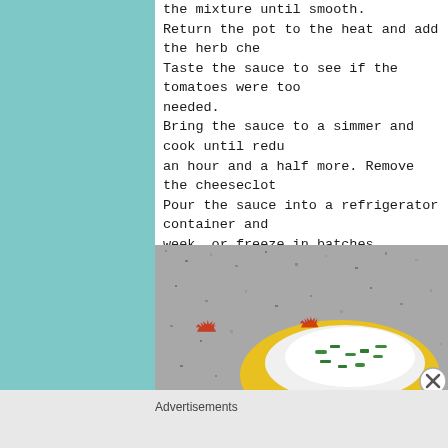the mixture until smooth. Return the pot to the heat and add the herb che… Taste the sauce to see if the tomatoes were too… needed. Bring the sauce to a simmer and cook until redu… an hour and a half more. Remove the cheeseclot… Pour the sauce into a refrigerator container and… week, or freeze in batches.
[Figure (photo): A yellow decorative plate on a granite countertop with a white herb cheese mixture garnished with chopped green scallions.]
Advertisements